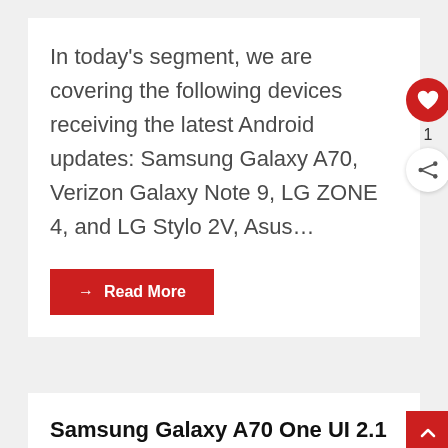In today's segment, we are covering the following devices receiving the latest Android updates: Samsung Galaxy A70, Verizon Galaxy Note 9, LG ZONE 4, and LG Stylo 2V, Asus...
→ Read More
Samsung Galaxy A70 One UI 2.1 update imminent: Galaxy A71